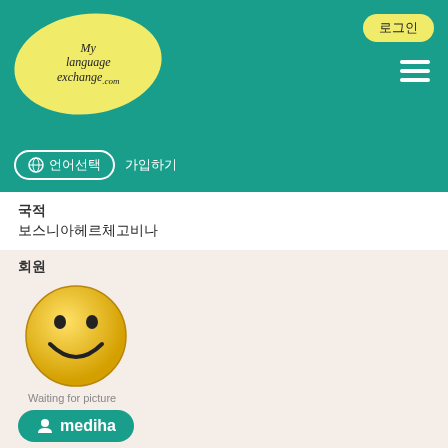[Figure (logo): MyLanguageExchange.com logo in yellow oval with italic serif font on teal header background]
로그인 | 언어선택 | 메뉴
국적
보스니아헤르체고비나
모국어
보스어
소개
I am a PhD student in AI and robotics in Germany. Originally I come from Bosnia and Herzegovina. I would like to practice German.
회원
[Figure (illustration): Smiley face yellow emoji avatar placeholder with text 'Waiting for picture']
mediha